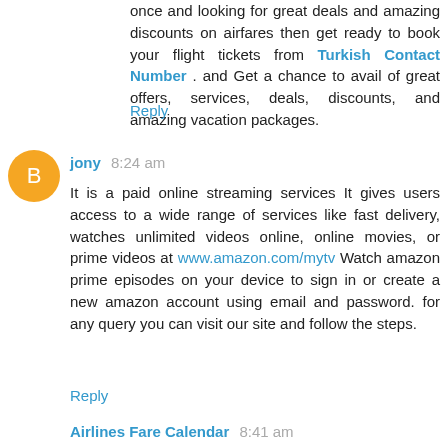once and looking for great deals and amazing discounts on airfares then get ready to book your flight tickets from Turkish Contact Number . and Get a chance to avail of great offers, services, deals, discounts, and amazing vacation packages.
Reply
jony 8:24 am
It is a paid online streaming services It gives users access to a wide range of services like fast delivery, watches unlimited videos online, online movies, or prime videos at www.amazon.com/mytv Watch amazon prime episodes on your device to sign in or create a new amazon account using email and password. for any query you can visit our site and follow the steps.
Reply
Airlines Fare Calendar 8:41 am